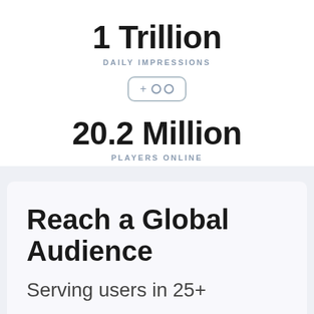1 Trillion
DAILY IMPRESSIONS
[Figure (illustration): A rounded rectangle icon with a plus sign and two circles (infinity/coins symbol) inside]
20.2 Million
PLAYERS ONLINE
Reach a Global Audience
Serving users in 25+